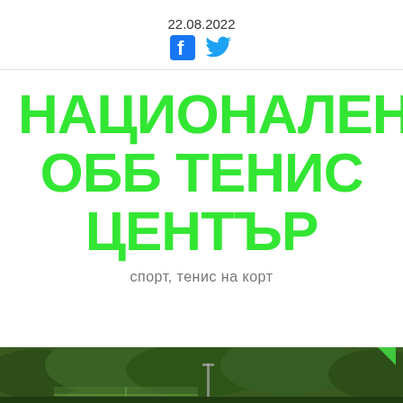22.08.2022
НАЦИОНАЛЕН ОББ ТЕНИС ЦЕНТЪР
спорт, тенис на корт
[Figure (photo): Outdoor tennis courts with green trees in background, viewed from above]